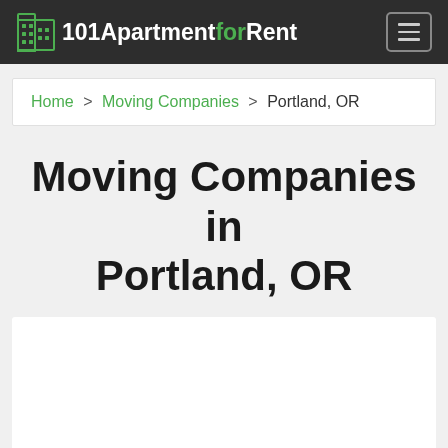101ApartmentforRent
Home > Moving Companies > Portland, OR
Moving Companies in Portland, OR
[Figure (other): White content box / advertisement placeholder]